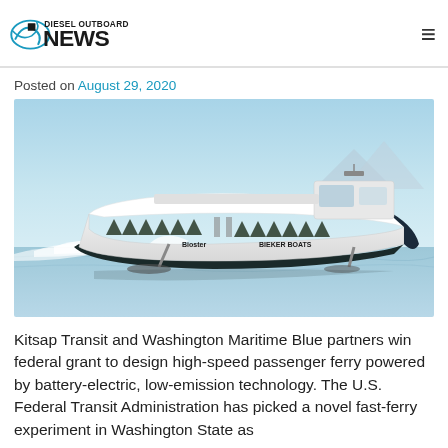DIESEL OUTBOARD NEWS
Posted on August 29, 2020
[Figure (photo): High-speed hydrofoil passenger ferry concept rendering showing a white catamaran-style vessel with triangular window cutouts labeled 'Bioster' and 'BIEKER BOATS', skimming above water at high speed with spray behind it, against a blue sky and mountain background.]
Kitsap Transit and Washington Maritime Blue partners win federal grant to design high-speed passenger ferry powered by battery-electric, low-emission technology. The U.S. Federal Transit Administration has picked a novel fast-ferry experiment in Washington State as